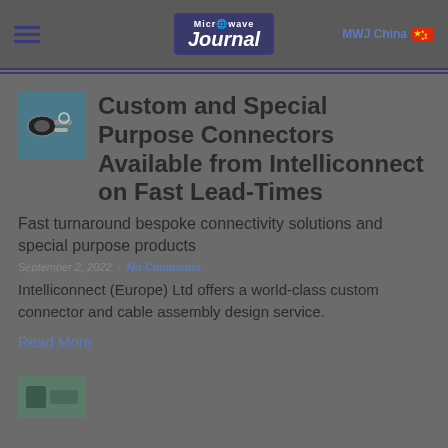Microwave Journal | MWJ China
Custom and Special Purpose Connectors Available from Intelliconnect on Fast Lead-Times
Fast turnaround bespoke connectivity solutions and special purpose products
September 2, 2022 · No Comments
Intelliconnect (Europe) Ltd offers a world-class custom connector and cable assembly design service.
Read More